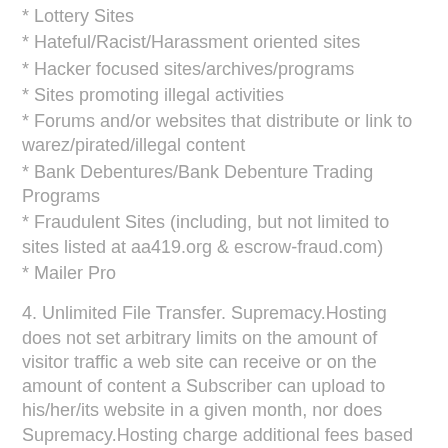* Lottery Sites
* Hateful/Racist/Harassment oriented sites
* Hacker focused sites/archives/programs
* Sites promoting illegal activities
* Forums and/or websites that distribute or link to warez/pirated/illegal content
* Bank Debentures/Bank Debenture Trading Programs
* Fraudulent Sites (including, but not limited to sites listed at aa419.org & escrow-fraud.com)
* Mailer Pro
4. Unlimited File Transfer. Supremacy.Hosting does not set arbitrary limits on the amount of visitor traffic a web site can receive or on the amount of content a Subscriber can upload to his/her/its website in a given month, nor does Supremacy.Hosting charge additional fees based on increased use of bandwidth, as long as the Subscriber's use of the Services complies with these Terms. In most cases, a